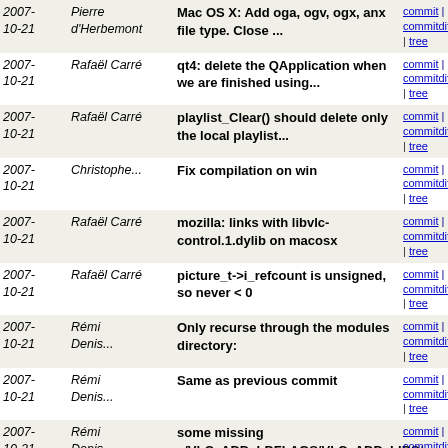| Date | Author | Message | Links |
| --- | --- | --- | --- |
| 2007-10-21 | Pierre d'Herbemont | Mac OS X: Add oga, ogv, ogx, anx file type. Close ... | commit | commitdiff | tree |
| 2007-10-21 | Rafaël Carré | qt4: delete the QApplication when we are finished using... | commit | commitdiff | tree |
| 2007-10-21 | Rafaël Carré | playlist_Clear() should delete only the local playlist... | commit | commitdiff | tree |
| 2007-10-21 | Christophe... | Fix compilation on win | commit | commitdiff | tree |
| 2007-10-21 | Rafaël Carré | mozilla: links with libvlc-control.1.dylib on macosx | commit | commitdiff | tree |
| 2007-10-21 | Rafaël Carré | picture_t->i_refcount is unsigned, so never < 0 | commit | commitdiff | tree |
| 2007-10-21 | Rémi Denis... | Only recurse through the modules directory: | commit | commitdiff | tree |
| 2007-10-21 | Rémi Denis... | Same as previous commit | commit | commitdiff | tree |
| 2007-10-21 | Rémi Denis... | some missing s/VLC_ADD_LDFLAGS/VLC_ADD_LIBS/ | commit | commitdiff | tree |
| 2007-10-21 | Rémi Denis... | Also test libvlc_playlist_clear and libvlc_playlist_add... | commit | commitdiff | tree |
| 2007-10-21 | Rémi Denis... | Playlist delete support... sorta. LibVLC crashes intern... | commit | commitdiff | tree |
| 2007-10-21 | Rémi Denis... | Doxygen syntax fix | commit | commitdiff | tree |
| 2007-10-21 | Pierre d'Herbemont | extras/contrib/src/Makefile: Fix dca an zvbi install... | commit | commitdiff | tree |
| 2007- | Laurent | Increase rate/speed control granularity. | commit | commitdiff |